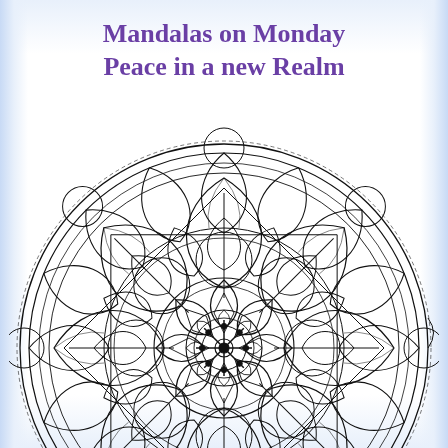Mandalas on Monday
Peace in a new Realm
[Figure (illustration): A detailed black-and-white mandala coloring page illustration featuring intricate layered floral and geometric patterns radiating from a central snowflake/flower motif, with multiple concentric rings of petals, curves, and decorative elements.]